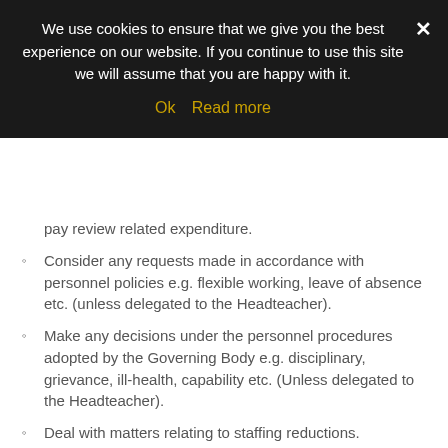We use cookies to ensure that we give you the best experience on our website. If you continue to use this site we will assume that you are happy with it. Ok  Read more
pay review related expenditure.
Consider any requests made in accordance with personnel policies e.g. flexible working, leave of absence etc. (unless delegated to the Headteacher).
Make any decisions under the personnel procedures adopted by the Governing Body e.g. disciplinary, grievance, ill-health, capability etc. (Unless delegated to the Headteacher).
Deal with matters relating to staffing reductions.
MEETINGS:  at least annually
QUORUM:  3
DISQUALIFICATIONS:  Headteacher; Chair of Governors (if